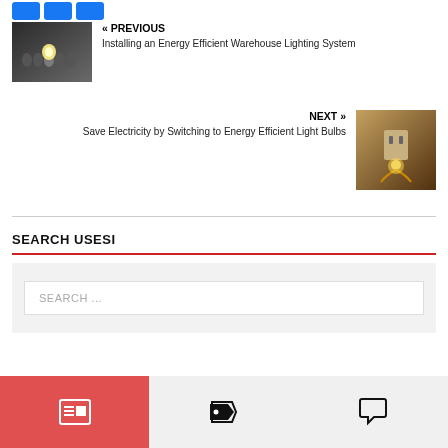[Figure (other): Three blue social media share buttons at top]
« PREVIOUS
Installing an Energy Efficient Warehouse Lighting System
[Figure (photo): Photo of light bulbs in a row with one lit up, dark background]
NEXT »
Save Electricity by Switching to Energy Efficient Light Bulbs
[Figure (photo): Photo of a humanoid figure made of light bulbs plugged into a wall socket]
SEARCH USESI
[Figure (screenshot): Search input box with placeholder text SEARCH ...]
[Figure (other): Bottom tab bar with three icons: newspaper/grid icon (active, red background), tag icon, speech bubble icon]